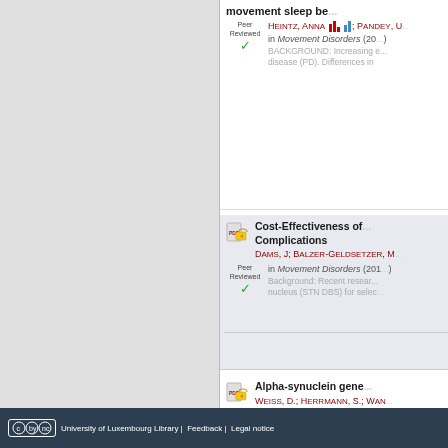movement sleep be...
HEINTZ, ANNA; PANDEY, U... in Movement Disorders (20... BACKGROUND: Increasing e... disease (PD). Differences in...
Cost-Effectiveness of... Complications
DAMS, J; BALZER-GELDSETZER, M... in Movement Disorders (201... Background: Recent resear... nucleus (STN DBS) for selec...
Alpha-synuclein gene...
WEISS, D.; HERRMANN, S.; WAN... in Movement Disorders (201...
(cc) BY-NC-SA  University of Luxembourg Library |  Feedback |  Legal notice